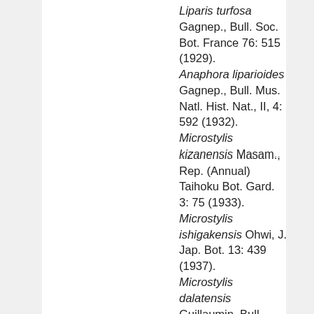Liparis turfosa Gagnep., Bull. Soc. Bot. France 76: 515 (1929). Anaphora liparioides Gagnep., Bull. Mus. Natl. Hist. Nat., II, 4: 592 (1932). Microstylis kizanensis Masam., Rep. (Annual) Taihoku Bot. Gard. 3: 75 (1933). Microstylis ishigakensis Ohwi, J. Jap. Bot. 13: 439 (1937). Microstylis dalatensis Guillaumin, Bull. Mus. Natl. Hist. Nat., II, 27: 397 (1955). Malaxis carnosula